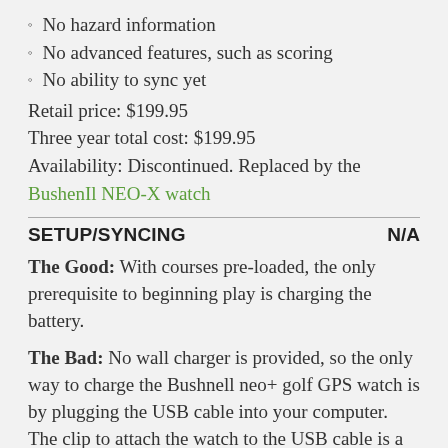No hazard information
No advanced features, such as scoring
No ability to sync yet
Retail price: $199.95
Three year total cost: $199.95
Availability: Discontinued. Replaced by the Bushenll NEO-X watch
SETUP/SYNCING    N/A
The Good: With courses pre-loaded, the only prerequisite to beginning play is charging the battery.
The Bad: No wall charger is provided, so the only way to charge the Bushnell neo+ golf GPS watch is by plugging the USB cable into your computer. The clip to attach the watch to the USB cable is a bit fickle. The promised syncing capability wasn't yet available at the time of our testing (see below).